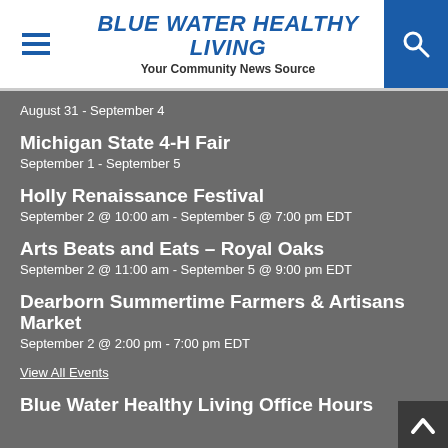BLUE WATER HEALTHY LIVING — Your Community News Source
August 31 - September 4
Michigan State 4-H Fair
September 1 - September 5
Holly Renaissance Festival
September 2 @ 10:00 am - September 5 @ 7:00 pm EDT
Arts Beats and Eats – Royal Oaks
September 2 @ 11:00 am - September 5 @ 9:00 pm EDT
Dearborn Summertime Farmers & Artisans Market
September 2 @ 2:00 pm - 7:00 pm EDT
View All Events
Blue Water Healthy Living Office Hours